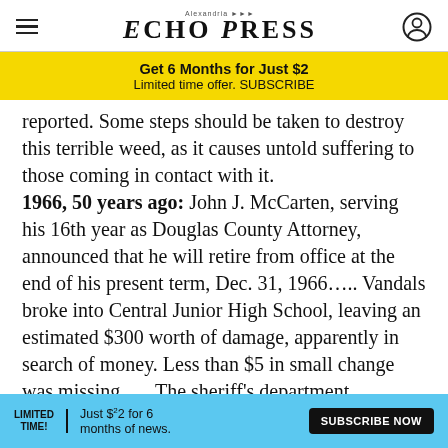Echo Press
Get 6 Months for Just $2 Limited time offer. SUBSCRIBE
reported. Some steps should be taken to destroy this terrible weed, as it causes untold suffering to those coming in contact with it. 1966, 50 years ago: John J. McCarten, serving his 16th year as Douglas County Attorney, announced that he will retire from office at the end of his present term, Dec. 31, 1966..... Vandals broke into Central Junior High School, leaving an estimated $300 worth of damage, apparently in search of money. Less than $5 in small change was missing. ... The sheriff's department completed a 26-day search that disap of
LIMITED TIME! Just $2 for 6 months of news. SUBSCRIBE NOW